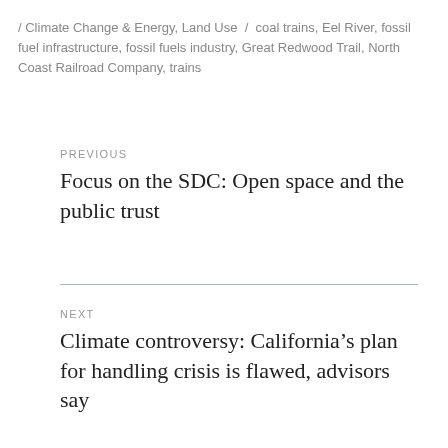/ Climate Change & Energy, Land Use / coal trains, Eel River, fossil fuel infrastructure, fossil fuels industry, Great Redwood Trail, North Coast Railroad Company, trains
PREVIOUS
Focus on the SDC: Open space and the public trust
NEXT
Climate controversy: California's plan for handling crisis is flawed, advisors say